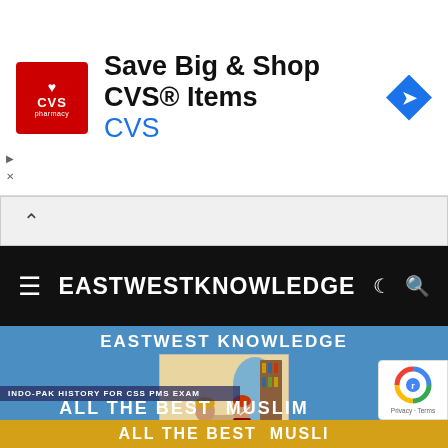[Figure (screenshot): CVS Pharmacy advertisement banner with red CVS logo, text 'Save Big & Shop CVS® Items', 'CVS' in blue, and a blue navigation arrow icon on the right]
[Figure (screenshot): Collapse/scroll up chevron bar below advertisement]
EASTWESTKNOWLEDGE
[Figure (screenshot): EastWest Knowledge website hero section with blue background showing 'EASTWEST KNOWLEDGE' text, an illustration of historical scholars/scribes, text 'INDO-PAK HISTORY FOR CSS PMS EXAM', and partially visible text 'ALL THE BEST MUSLIM']
INDO-PAK HISTORY FOR CSS PMS EXAM
ALL THE BEST MUSLIM